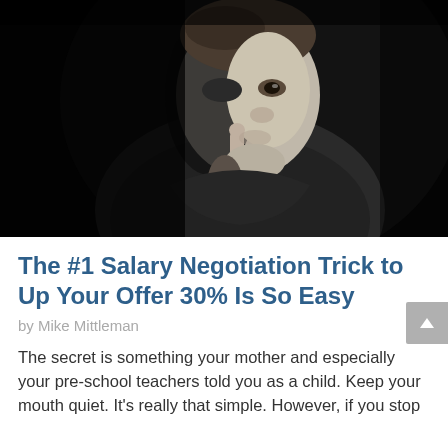[Figure (photo): Black and white photograph of a man in a dark sweater with his finger to his lips in a shushing gesture, face partially lit against a dark background]
The #1 Salary Negotiation Trick to Up Your Offer 30% Is So Easy
by Mike Mittleman
The secret is something your mother and especially your pre-school teachers told you as a child. Keep your mouth quiet. It's really that simple. However, if you stop